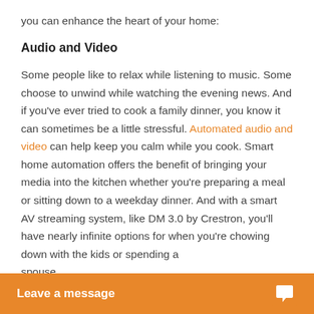you can enhance the heart of your home:
Audio and Video
Some people like to relax while listening to music. Some choose to unwind while watching the evening news. And if you’ve ever tried to cook a family dinner, you know it can sometimes be a little stressful. Automated audio and video can help keep you calm while you cook. Smart home automation offers the benefit of bringing your media into the kitchen whether you’re preparing a meal or sitting down to a weekday dinner. And with a smart AV streaming system, like DM 3.0 by Crestron, you’ll have nearly infinite options for when you’re chowing down with the kids or spending a
spouse.
Leave a message